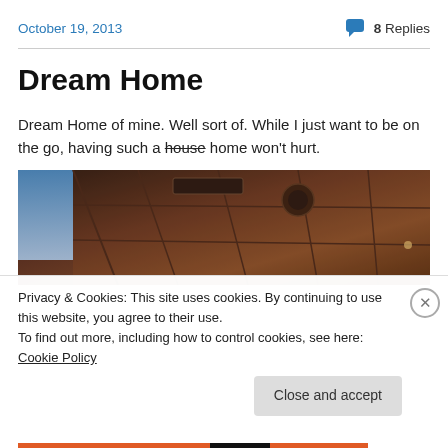October 19, 2013   8 Replies
Dream Home
Dream Home of mine. Well sort of. While I just want to be on the go, having such a house home won't hurt.
[Figure (photo): Interior photo showing a dark wooden ceiling with recessed lighting panels, part of a luxury interior space.]
Privacy & Cookies: This site uses cookies. By continuing to use this website, you agree to their use.
To find out more, including how to control cookies, see here: Cookie Policy
Close and accept